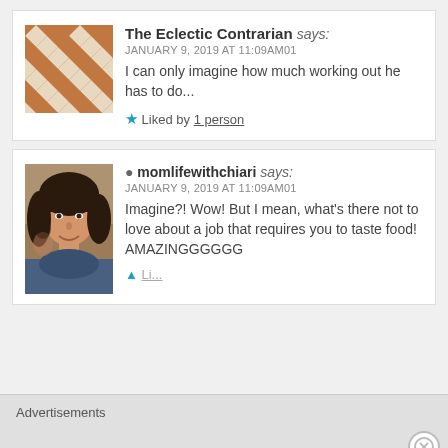The Eclectic Contrarian says: JANUARY 9, 2019 AT 11:09AM01 I can only imagine how much working out he has to do... Liked by 1 person
momlifewithchiari says: JANUARY 9, 2019 AT 11:09AM01 Imagine?! Wow! But I mean, what's there not to love about a job that requires you to taste food! AMAZINGGGGGG
Advertisements